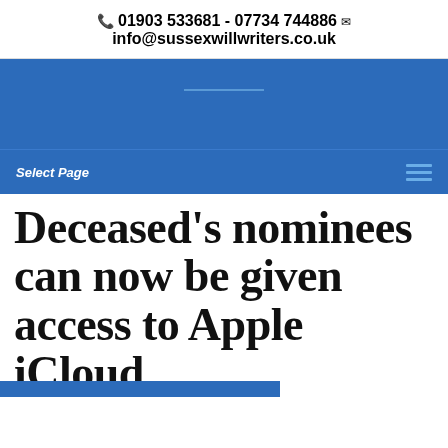📞 01903 533681 - 07734 744886 ✉ info@sussexwillwriters.co.uk
Deceased's nominees can now be given access to Apple iCloud